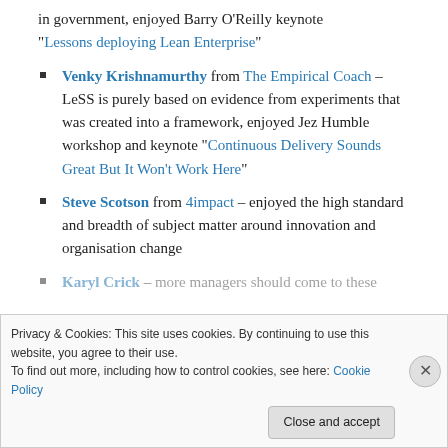in government, enjoyed Barry O'Reilly keynote “Lessons deploying Lean Enterprise”
Venky Krishnamurthy from The Empirical Coach – LeSS is purely based on evidence from experiments that was created into a framework, enjoyed Jez Humble workshop and keynote “Continuous Delivery Sounds Great But It Won’t Work Here”
Steve Scotson from 4impact – enjoyed the high standard and breadth of subject matter around innovation and organisation change
Karyl Crick – more managers should come to these
Privacy & Cookies: This site uses cookies. By continuing to use this website, you agree to their use. To find out more, including how to control cookies, see here: Cookie Policy